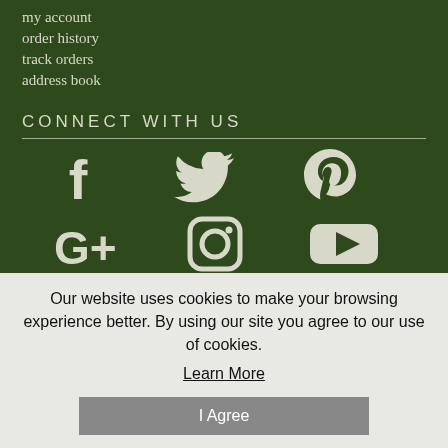my account
order history
track orders
address book
CONNECT WITH US
[Figure (infographic): Social media icons: Facebook, Twitter, Pinterest (top row); Google+, Instagram, YouTube (bottom row)]
follow us on social media for updates about the website and
Our website uses cookies to make your browsing experience better. By using our site you agree to our use of cookies.
Learn More
I Agree